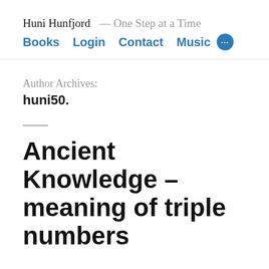Huni Hunfjord — One Step at a Time
Books  Login  Contact  Music
Author Archives:
huni50.
Ancient Knowledge – meaning of triple numbers